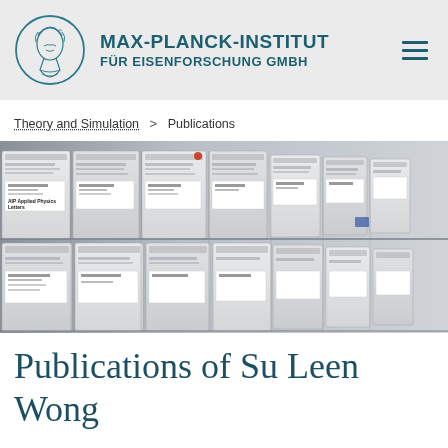MAX-PLANCK-INSTITUT FÜR EISENFORSCHUNG GMBH
Theory and Simulation > Publications
[Figure (photo): Wall of academic journal reprints and papers stored in plastic sleeves in a display rack, including one labeled 'AIP Applied Physics Letters']
Publications of Su Leen Wong